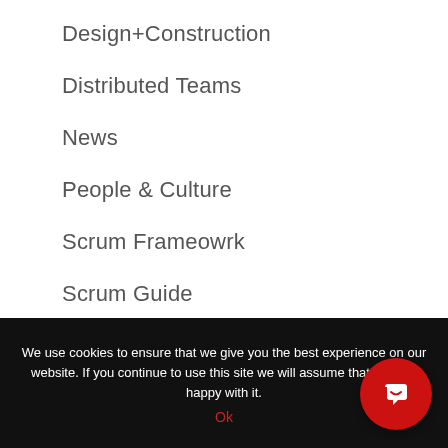Design+Construction
Distributed Teams
News
People & Culture
Scrum Frameowrk
Scrum Guide
Scrum in Action
Scrum in Agile
Scrum Spotlight
We use cookies to ensure that we give you the best experience on our website. If you continue to use this site we will assume that you are happy with it.
Ok